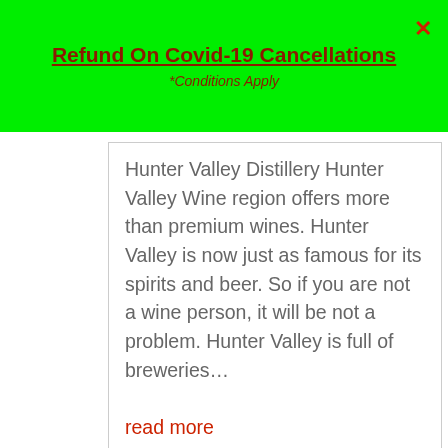Refund On Covid-19 Cancellations
*Conditions Apply
Hunter Valley Distillery Hunter Valley Wine region offers more than premium wines. Hunter Valley is now just as famous for its spirits and beer. So if you are not a wine person, it will be not a problem. Hunter Valley is full of breweries...
read more
[Figure (photo): Photo of wine barrels and wooden surfaces, Hunter Valley winery scene]